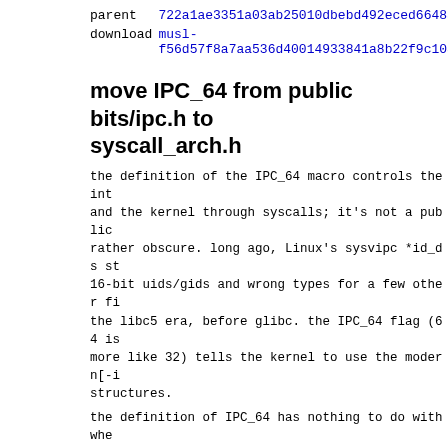| parent | 722a1ae3351a03ab25010dbebd492eced664853b (diff) |
| download | musl-f56d57f8a7aa536d40014933841a8b22f9c10328.tar.gz |
move IPC_64 from public bits/ipc.h to syscall_arch.h
the definition of the IPC_64 macro controls the interface between userspace and the kernel through syscalls; it's not a public API and is rather obscure. long ago, Linux's sysvipc *id_ds structures had 16-bit uids/gids and wrong types for a few other fields, dating to the libc5 era, before glibc. the IPC_64 flag (64 is a misnomer, more like 32) tells the kernel to use the modern[-ish] structures.
the definition of IPC_64 has nothing to do with whether the arch is 32- or 64-bit. rather, due to either historical accident or intentional obnoxiousness, the kernel only accepts a non-zero 0x100 IPC_64 flag conditional on CONFIG_ARCH_WANT_IPC_PARSE_VERSION, i.e. for archs that want to provide, or that accidentally provided, both. for archs which don't define this option, no masking is performed and commands with the 0x100 bit set will fail. ultimately, the definition is just a matter of matching the switch defined per-arch in the kernel.
Diffstat (limited to 'arch/generic')
| -rw-r--r-- | arch/generic/bits/ipc.h | 2 |